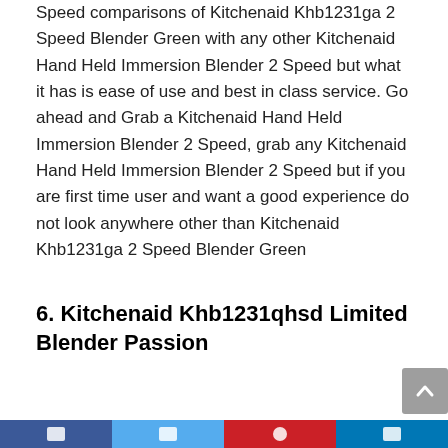Speed comparisons of Kitchenaid Khb1231ga 2 Speed Blender Green with any other Kitchenaid Hand Held Immersion Blender 2 Speed but what it has is ease of use and best in class service. Go ahead and Grab a Kitchenaid Hand Held Immersion Blender 2 Speed, grab any Kitchenaid Hand Held Immersion Blender 2 Speed but if you are first time user and want a good experience do not look anywhere other than Kitchenaid Khb1231ga 2 Speed Blender Green
6. Kitchenaid Khb1231qhsd Limited Blender Passion